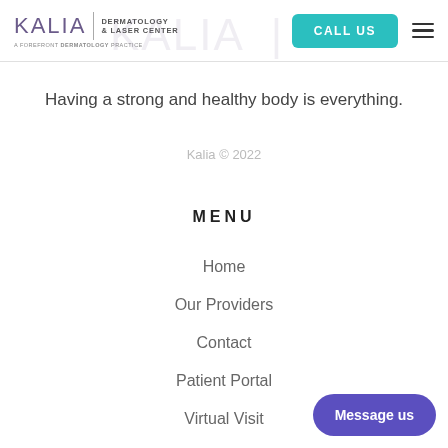KALIA | DERMATOLOGY & LASER CENTER — A FOREFRONT DERMATOLOGY PRACTICE | CALL US
Having a strong and healthy body is everything.
Kalia © 2022
MENU
Home
Our Providers
Contact
Patient Portal
Virtual Visit